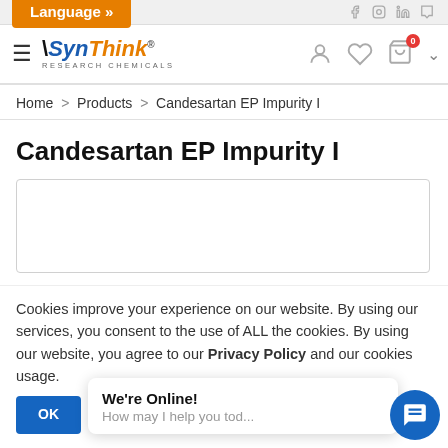Language »
[Figure (logo): SynThink Research Chemicals logo with hamburger menu and nav icons]
Home > Products > Candesartan EP Impurity I
Candesartan EP Impurity I
[Figure (other): Product image placeholder box]
Cookies improve your experience on our website. By using our services, you consent to the use of ALL the cookies. By using our website, you agree to our Privacy Policy and our cookies usage.
OK
We're Online!
How may I help you tod...